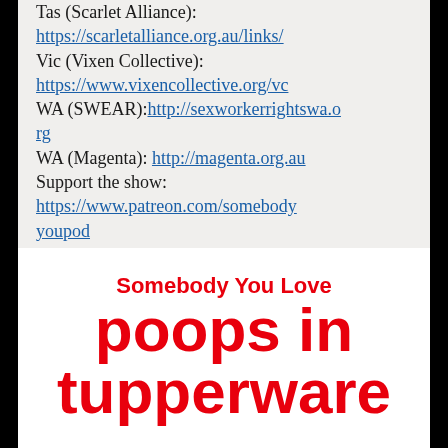Tas (Scarlet Alliance): https://scarletalliance.org.au/links/ Vic (Vixen Collective): https://www.vixencollective.org/vc WA (SWEAR):http://sexworkerrightswa.org WA (Magenta): http://magenta.org.au Support the show: https://www.patreon.com/somebodyyoupod
[Figure (other): Text graphic reading 'Somebody You Love poops in tupperware' in bold red text on white background]